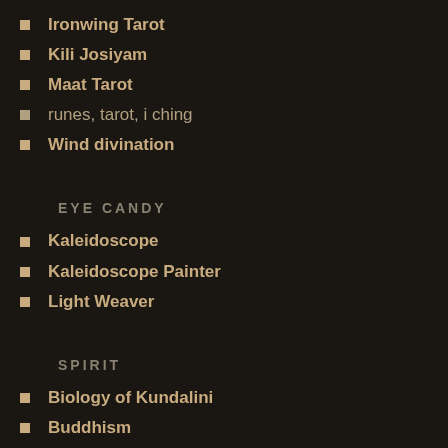Ironwing Tarot
Kili Josiyam
Maat Tarot
runes, tarot, i ching
Wind divination
EYE CANDY
Kaleidoscope
Kaleidoscope Painter
Light Weaver
SPIRIT
Biology of Kundalini
Buddhism
Hindu tantrik tradition
Interactive Qabala
MIDDLE EARTH
3D Interactive Map